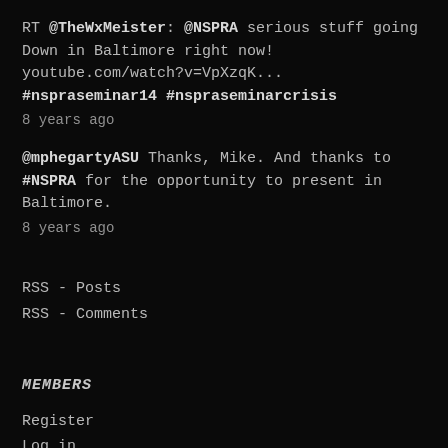RT @TheWxMeister: @NSPRA serious stuff going Down in Baltimore right now! youtube.com/watch?v=VpXzqK... #nspraseminar14 #nspraseminarcrisis
8 years ago
@mphegartyASU Thanks, Mike. And thanks to #NSPRA for the opportunity to present in Baltimore.
8 years ago
RSS - Posts
RSS - Comments
MEMBERS
Register
Log in